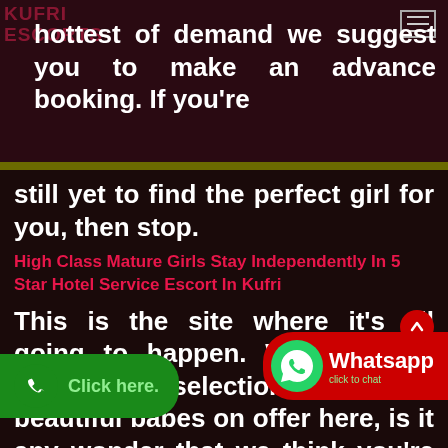hottest of demand we suggest you to make an advance booking. If you're still yet to find the perfect girl for you, then stop.
High Class Mature Girls Stay Independently In 5 Star Hotel Service Escort In Kufri
This is the site where it's all going to happen. With such a wonderful selection of truly beautiful babes on offer here, is it any wonder that we think you're sure to find the woman of your dreams on this very site? After all, these lovely ladies way with their skill, their charm and their sheer ability. We've